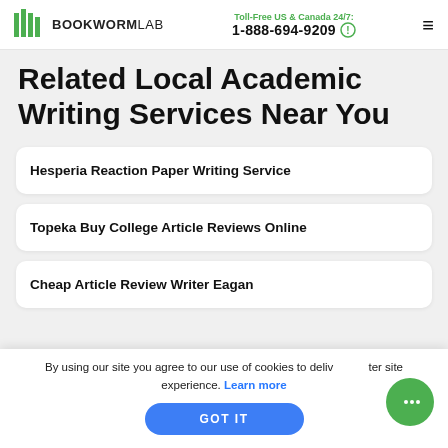Toll-Free US & Canada 24/7: 1-888-694-9209 BOOKWORMLAB
Related Local Academic Writing Services Near You
Hesperia Reaction Paper Writing Service
Topeka Buy College Article Reviews Online
Cheap Article Review Writer Eagan
By using our site you agree to our use of cookies to deliver a better site experience. Learn more
GOT IT